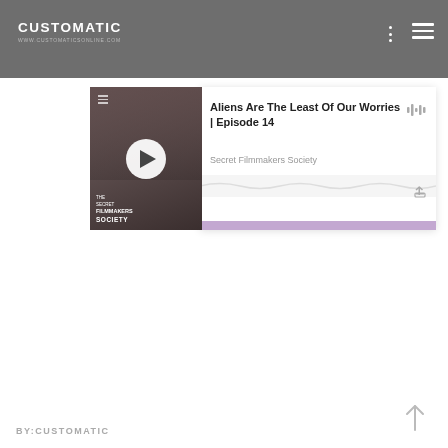CUSTOMATIC / WWW.CUSTOMATICSONLINE.COM
[Figure (screenshot): Podcast player card showing episode 'Aliens Are The Least Of Our Worries | Episode 14' by Secret Filmmakers Society with thumbnail, play button, waveform, and purple progress bar]
Aliens Are The Least Of Our Worries | Episode 14
Secret Filmmakers Society
BY:CUSTOMATIC